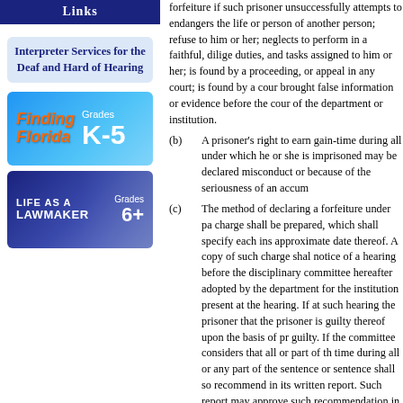Links
[Figure (illustration): Blue banner with text 'Links']
[Figure (illustration): Light blue box: Interpreter Services for the Deaf and Hard of Hearing]
[Figure (illustration): Finding Florida Grades K-5 banner in blue]
[Figure (illustration): Life as a Lawmaker Grades 6+ banner in dark blue]
forfeiture if such prisoner unsuccessfully attempts to endangers the life or person of another person; refuses to him or her; neglects to perform in a faithful, diligent duties, and tasks assigned to him or her; is found by a proceeding, or appeal in any court; is found by a court brought false information or evidence before the court of the department or institution.
(b) A prisoner's right to earn gain-time during all under which he or she is imprisoned may be declared misconduct or because of the seriousness of an accum
(c) The method of declaring a forfeiture under pa charge shall be prepared, which shall specify each ins approximate date thereof. A copy of such charge shall notice of a hearing before the disciplinary committee hereafter adopted by the department for the institution present at the hearing. If at such hearing the prisoner that the prisoner is guilty thereof upon the basis of pr guilty. If the committee considers that all or part of th time during all or any part of the sentence or sentence shall so recommend in its written report. Such report may approve such recommendation in whole or in pa approval, the warden shall forward the report to the d discretion, declare the forfeiture thus approved by the